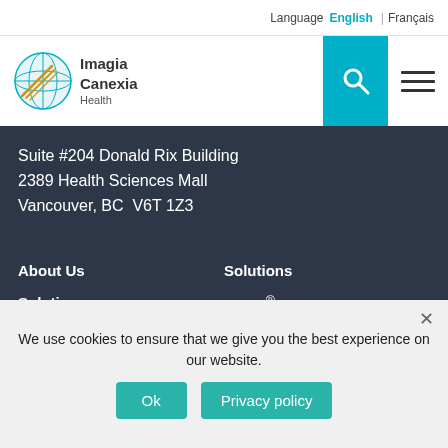Language  English | Français
[Figure (logo): Imagia Canexia Health logo with circular globe icon and text]
Suite #204 Donald Rix Building
2389 Health Sciences Mall
Vancouver, BC  V6T 1Z3
About Us
Solutions
Imagia Canexia AI
Partnerships
Resources
Solutions
Find It®
Follow It®
Fusions
Imagia Canexia Insights Platform
Clinical Services
Contact Us
We use cookies to ensure that we give you the best experience on our website.